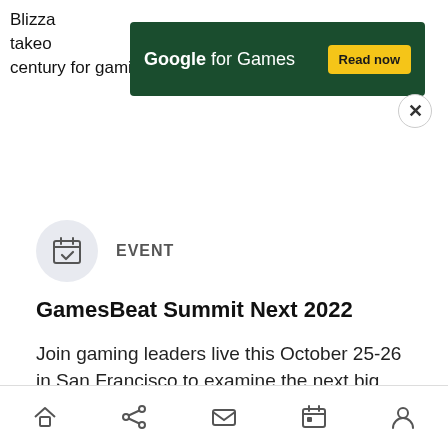Blizza... takeo... century for gaming.
[Figure (infographic): Google for Games advertisement banner with dark green background, white text 'Google for Games', yellow 'Read now' button, and a close (X) button]
EVENT
GamesBeat Summit Next 2022
Join gaming leaders live this October 25-26 in San Francisco to examine the next big opportunities within the gaming industry.
Register Here
Home | Share | Mail | Calendar | Profile — navigation bar